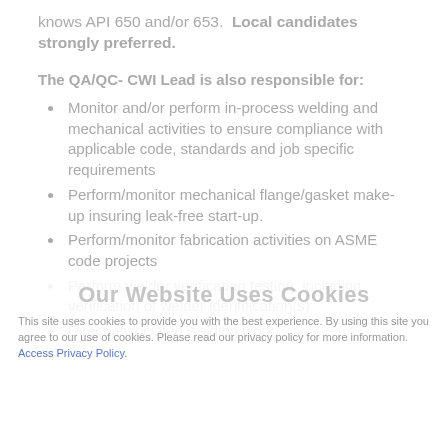knows API 650 and/or 653. Local candidates strongly preferred.
The QA/QC- CWI Lead is also responsible for:
Monitor and/or perform in-process welding and mechanical activities to ensure compliance with applicable code, standards and job specific requirements
Perform/monitor mechanical flange/gasket make-up insuring leak-free start-up.
Perform/monitor fabrication activities on ASME code projects
Perform welder verification testing, including verification of welder identification(s)
Direct associated welding work